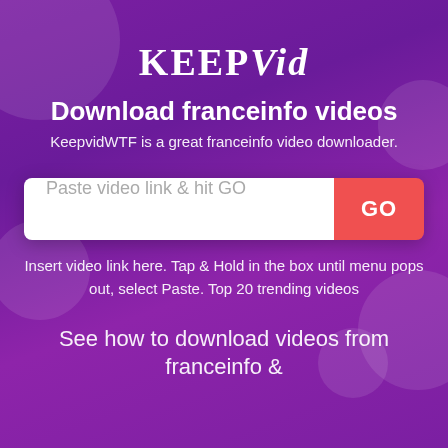KEEPVid
Download franceinfo videos
KeepvidWTF is a great franceinfo video downloader.
[Figure (screenshot): Search bar with placeholder text 'Paste video link & hit GO' and a red GO button]
Insert video link here. Tap & Hold in the box until menu pops out, select Paste. Top 20 trending videos
See how to download videos from franceinfo &